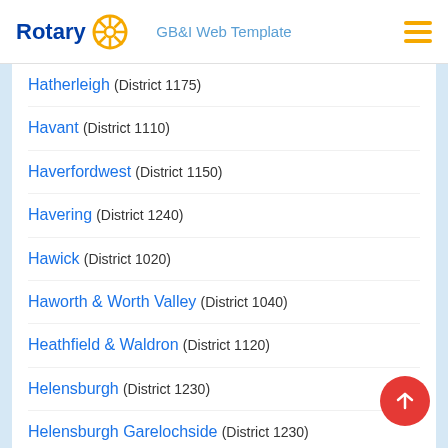Rotary | GB&I Web Template
Hatherleigh (District 1175)
Havant (District 1110)
Haverfordwest (District 1150)
Havering (District 1240)
Hawick (District 1020)
Haworth & Worth Valley (District 1040)
Heathfield & Waldron (District 1120)
Helensburgh (District 1230)
Helensburgh Garelochside (District 1230)